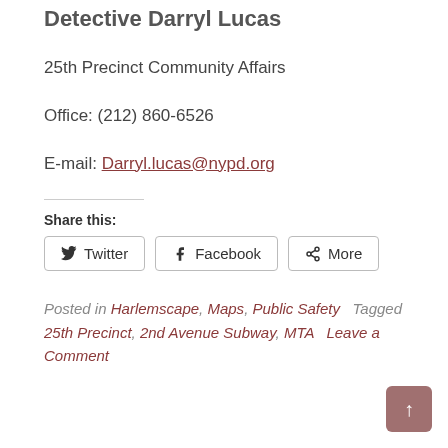Detective Darryl Lucas
25th Precinct Community Affairs
Office: (212) 860-6526
E-mail: Darryl.lucas@nypd.org
Share this:
Twitter  Facebook  More
Posted in Harlemscape, Maps, Public Safety   Tagged 25th Precinct, 2nd Avenue Subway, MTA   Leave a Comment